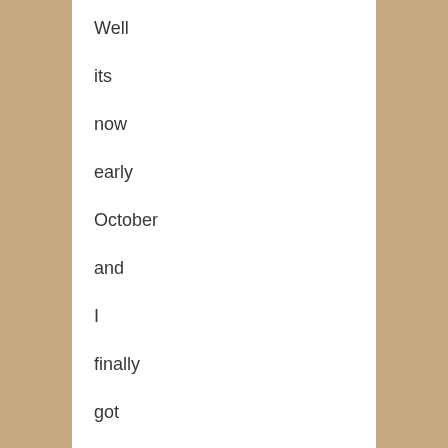Well its now early October and I finally got myself a new Samsung i7500 Galaxy on O2. I was completely amazed by this